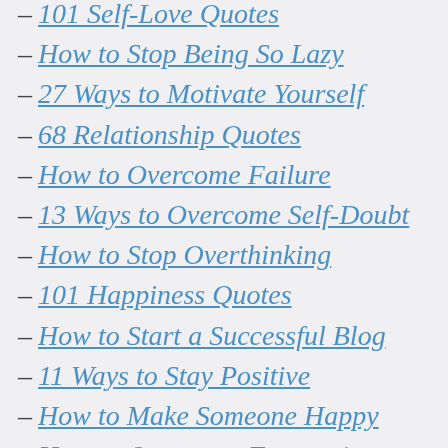– 101 Self-Love Quotes
– How to Stop Being So Lazy
– 27 Ways to Motivate Yourself
– 68 Relationship Quotes
– How to Overcome Failure
– 13 Ways to Overcome Self-Doubt
– How to Stop Overthinking
– 101 Happiness Quotes
– How to Start a Successful Blog
– 11 Ways to Stay Positive
– How to Make Someone Happy
– How to Overcome Frustration